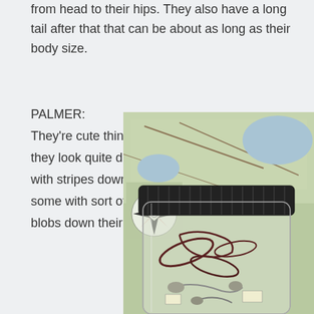from head to their hips. They also have a long tail after that that can be about as long as their body size.
PALMER: They're cute things. I'm interested, they look quite different. There's some with stripes down their backs and some with sort of like a pattern of blobs down their backs.
[Figure (photo): A glass jar with a black lid containing preserved lizard or gecko specimens, set against a background showing a decorative map with a compass rose.]